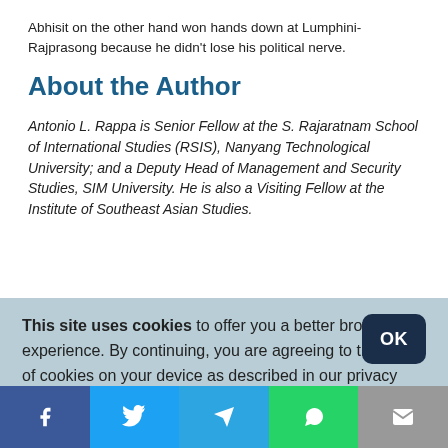Abhisit on the other hand won hands down at Lumphini-Rajprasong because he didn't lose his political nerve.
About the Author
Antonio L. Rappa is Senior Fellow at the S. Rajaratnam School of International Studies (RSIS), Nanyang Technological University; and a Deputy Head of Management and Security Studies, SIM University. He is also a Visiting Fellow at the Institute of Southeast Asian Studies.
This site uses cookies to offer you a better browsing experience. By continuing, you are agreeing to the use of cookies on your device as described in our privacy policy. Learn more
[Figure (infographic): Social sharing bar with Facebook, Twitter, Telegram, WhatsApp, and Email buttons]